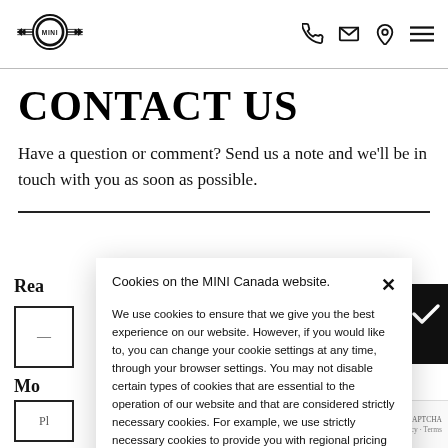MINI logo and navigation icons (phone, email, location, menu)
CONTACT US
Have a question or comment? Send us a note and we'll be in touch with you as soon as possible.
Cookies on the MINI Canada website. We use cookies to ensure that we give you the best experience on our website. However, if you would like to, you can change your cookie settings at any time, through your browser settings. You may not disable certain types of cookies that are essential to the operation of our website and that are considered strictly necessary cookies. For example, we use strictly necessary cookies to provide you with regional pricing information. You can find detailed information about how cookies are used on this website by clicking here.